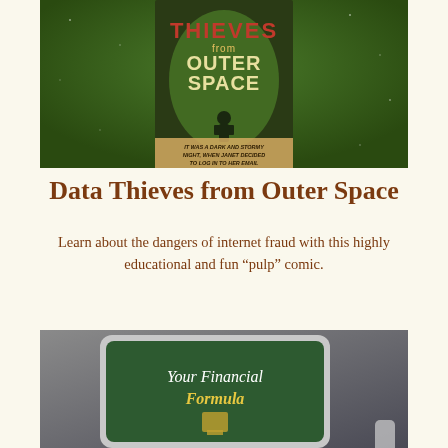[Figure (photo): Book cover of 'Data Thieves from Outer Space' comic shown against a green background, with text at bottom reading 'IT WAS A DARK AND STORMY NIGHT, WHEN JANET DECIDED TO LOG IN TO HER EMAIL']
Data Thieves from Outer Space
Learn about the dangers of internet fraud with this highly educational and fun “pulp” comic.
[Figure (photo): Tablet device displaying 'Your Financial Formula' screen with a green background and small trophy/cup icon]